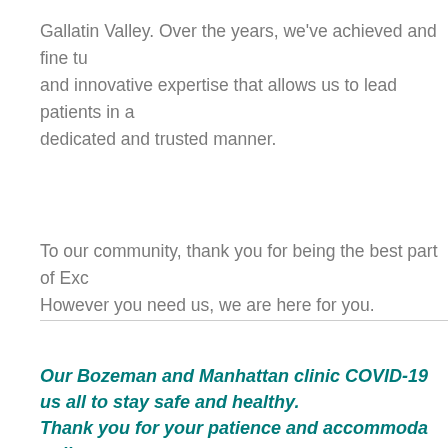Gallatin Valley. Over the years, we've achieved and fine tuned and innovative expertise that allows us to lead patients in a dedicated and trusted manner.
To our community, thank you for being the best part of Excl. However you need us, we are here for you.
Our Bozeman and Manhattan clinic COVID-19 us all to stay safe and healthy. Thank you for your patience and accommoda polices.